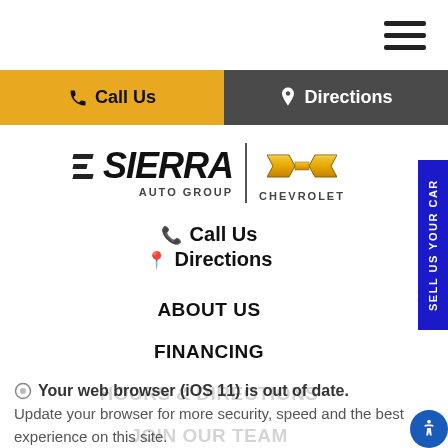[Figure (logo): Hamburger menu icon (three horizontal lines) in top right corner]
[Figure (logo): Navigation bar with yellow 'Call Us' button on left and dark gray 'Directions' button on right]
[Figure (logo): Sierra Auto Group Chevrolet logo — stylized SIERRA text with three diagonal lines and a Chevrolet bowtie badge]
Call Us
Directions
ABOUT US
FINANCING
HOURS & DIRECTIONS
JOIN OUR TEAM
INVENTORY
Your web browser (iOS 11) is out of date. Update your browser for more security, speed and the best experience on this site.
[Figure (logo): Blue vertical 'SELL US YOUR CAR' tab on right edge]
[Figure (logo): Blue accessibility icon button in bottom right corner]